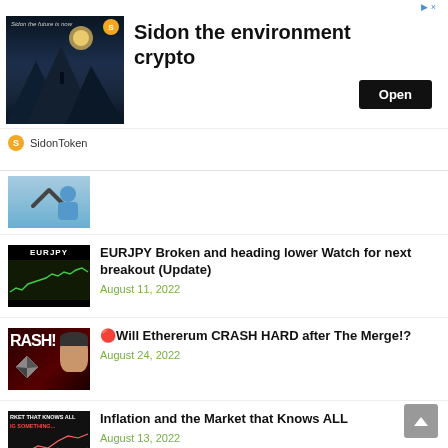[Figure (infographic): Advertisement banner for Sidon Token crypto with dark fantasy landscape image, 'Sidon the environment crypto' text, Open button, and SidonToken branding]
[Figure (screenshot): Partial article thumbnail showing a person]
EURJPY Broken and heading lower Watch for next breakout (Update)
August 11, 2022
🔴Will Ethererum CRASH HARD after The Merge!?
August 24, 2022
Inflation and the Market that Knows ALL
August 13, 2022